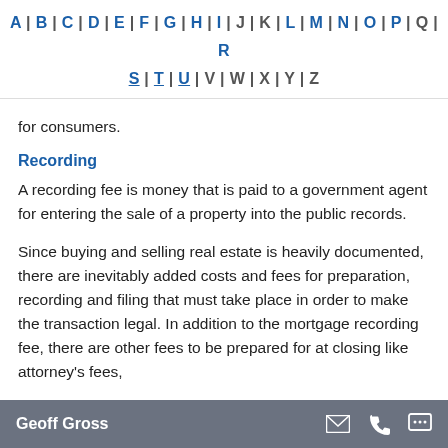A | B | C | D | E | F | G | H | I | J | K | L | M | N | O | P | Q | R | S | T | U | V | W | X | Y | Z
for consumers.
Recording
A recording fee is money that is paid to a government agent for entering the sale of a property into the public records.
Since buying and selling real estate is heavily documented, there are inevitably added costs and fees for preparation, recording and filing that must take place in order to make the transaction legal. In addition to the mortgage recording fee, there are other fees to be prepared for at closing like attorney's fees,
Geoff Gross